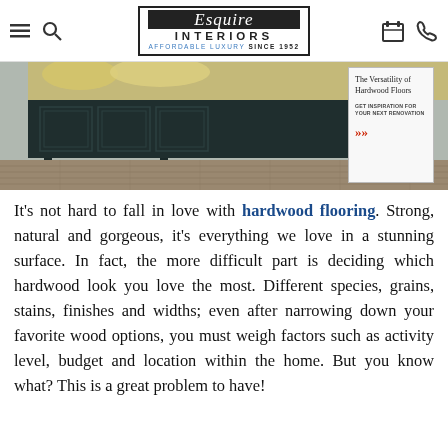Esquire Interiors — AFFORDABLE LUXURY SINCE 1952
[Figure (photo): A dark navy wooden bed frame/furniture piece sitting on herringbone hardwood flooring in a bedroom, with an advertisement overlay for 'The Versatility of Hardwood Floors — Get inspiration for your next renovation']
It's not hard to fall in love with hardwood flooring. Strong, natural and gorgeous, it's everything we love in a stunning surface. In fact, the more difficult part is deciding which hardwood look you love the most. Different species, grains, stains, finishes and widths; even after narrowing down your favorite wood options, you must weigh factors such as activity level, budget and location within the home. But you know what? This is a great problem to have!